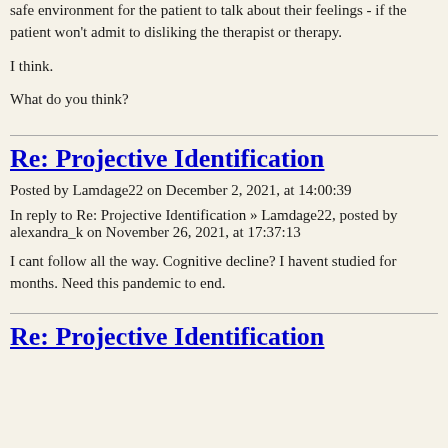safe environment for the patient to talk about their feelings - if the patient won't admit to disliking the therapist or therapy.
I think.
What do you think?
Re: Projective Identification
Posted by Lamdage22 on December 2, 2021, at 14:00:39
In reply to Re: Projective Identification » Lamdage22, posted by alexandra_k on November 26, 2021, at 17:37:13
I cant follow all the way. Cognitive decline? I havent studied for months. Need this pandemic to end.
Re: Projective Identification